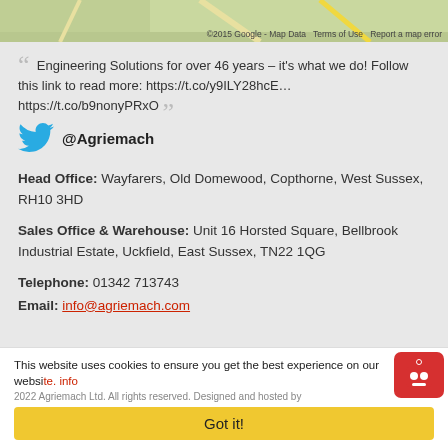[Figure (map): Google Maps strip showing partial map view with green/beige terrain]
Engineering Solutions for over 46 years – it's what we do! Follow this link to read more: https://t.co/y9ILY28hcE… https://t.co/b9nonyPRxO
@Agriemach
Head Office: Wayfarers, Old Domewood, Copthorne, West Sussex, RH10 3HD
Sales Office & Warehouse: Unit 16 Horsted Square, Bellbrook Industrial Estate, Uckfield, East Sussex, TN22 1QG
Telephone: 01342 713743
Email: info@agriemach.com
This website uses cookies to ensure you get the best experience on our website. info 2022 Agriemach Ltd. All rights reserved. Designed and hosted by...
Got it!